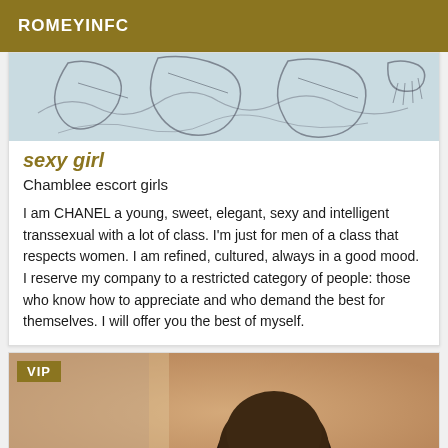ROMEYINFC
[Figure (photo): Sketch/illustration image showing abstract figures in light blue-grey tones]
sexy girl
Chamblee escort girls
I am CHANEL a young, sweet, elegant, sexy and intelligent transsexual with a lot of class. I'm just for men of a class that respects women. I am refined, cultured, always in a good mood. I reserve my company to a restricted category of people: those who know how to appreciate and who demand the best for themselves. I will offer you the best of myself.
[Figure (photo): Photo of a person, partially visible, warm brown background, with VIP badge overlay]